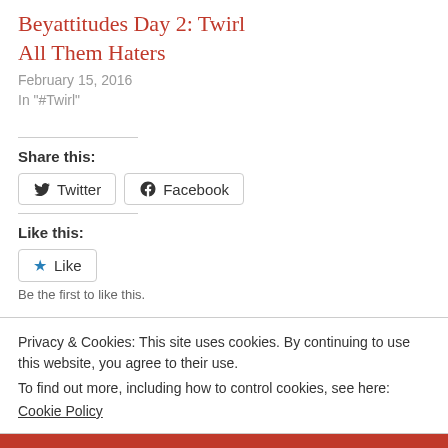Beyattitudes Day 2: Twirl All Them Haters
February 15, 2016
In "#Twirl"
Share this:
Twitter  Facebook
Like this:
Like
Be the first to like this.
Privacy & Cookies: This site uses cookies. By continuing to use this website, you agree to their use.
To find out more, including how to control cookies, see here: Cookie Policy
Close and accept